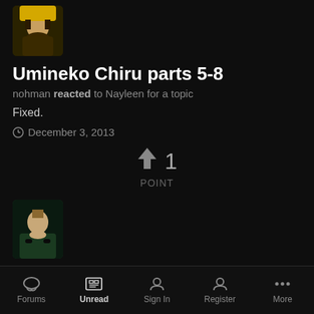[Figure (photo): User avatar thumbnail - anime character with yellow/black outfit]
Umineko Chiru parts 5-8
nohman reacted to Nayleen for a topic
Fixed.
December 3, 2013
1 POINT
[Figure (photo): User avatar thumbnail - anime character in green/dark outfit]
Greetings
Meanpandabomba reacted to ohiowar for a topic
Welcome to the forums.
Forums  Unread  Sign In  Register  More